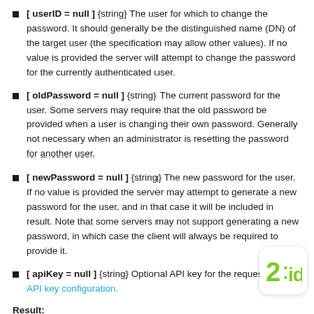[ userID = null ] {string} The user for which to change the password. It should generally be the distinguished name (DN) of the target user (the specification may allow other values). If no value is provided the server will attempt to change the password for the currently authenticated user.
[ oldPassword = null ] {string} The current password for the user. Some servers may require that the old password be provided when a user is changing their own password. Generally not necessary when an administrator is resetting the password for another user.
[ newPassword = null ] {string} The new password for the user. If no value is provided the server may attempt to generate a new password for the user, and in that case it will be included in result. Note that some servers may not support generating a new password, in which case the client will always be required to provide it.
[ apiKey = null ] {string} Optional API key for the request... API key configuration.
Result: